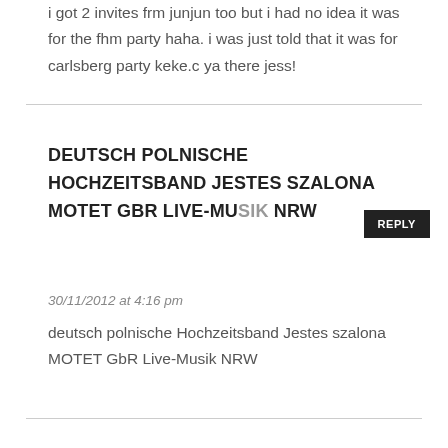i got 2 invites frm junjun too but i had no idea it was for the fhm party haha. i was just told that it was for carlsberg party keke.c ya there jess!
DEUTSCH POLNISCHE HOCHZEITSBAND JESTES SZALONA MOTET GBR LIVE-MUSIK NRW
30/11/2012 at 4:16 pm
deutsch polnische Hochzeitsband Jestes szalona MOTET GbR Live-Musik NRW